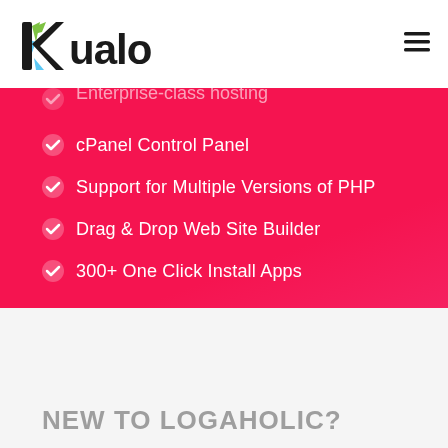[Figure (logo): Kualo logo - black stylized text with colorful K letter mark]
[Figure (other): Hamburger menu icon (three horizontal lines)]
Enterprise-class hosting (partially visible)
cPanel Control Panel
Support for Multiple Versions of PHP
Drag & Drop Web Site Builder
300+ One Click Install Apps
NEW TO LOGAHOLIC?